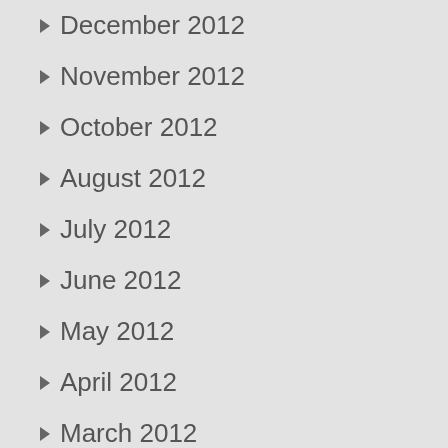December 2012
November 2012
October 2012
August 2012
July 2012
June 2012
May 2012
April 2012
March 2012
February 2012
January 2012
December 2011
November 2011